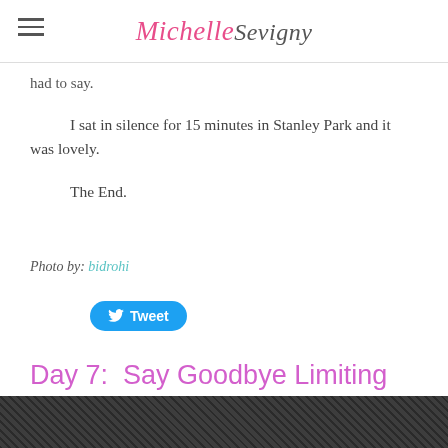Michelle Sevigny
had to say.
I sat in silence for 15 minutes in Stanley Park and it was lovely.
The End.
Photo by: bidrohi
[Figure (other): Tweet button with Twitter bird logo]
Day 7:  Say Goodbye Limiting Beliefs
11/5/2015
[Figure (photo): Dark textured gravel or stone surface photo at bottom of page]